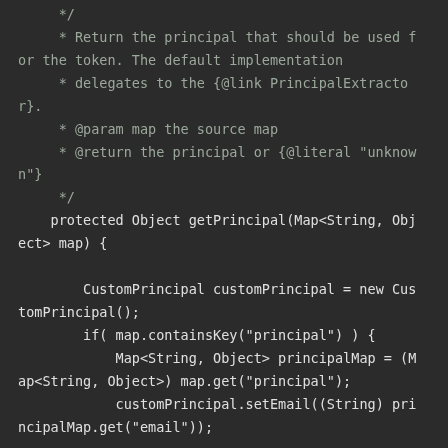Code snippet showing a Java method getPrincipal with Javadoc comments and implementation using CustomPrincipal and Map operations.